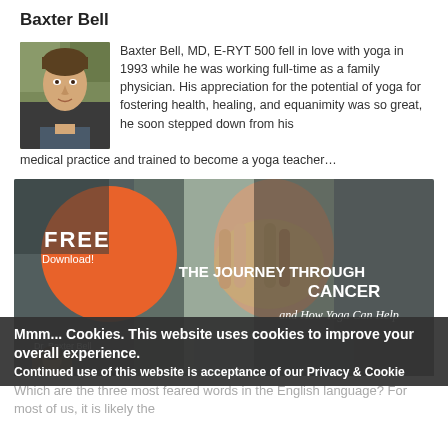Baxter Bell
Baxter Bell, MD, E-RYT 500 fell in love with yoga in 1993 while he was working full-time as a family physician. His appreciation for the potential of yoga for fostering health, healing, and equanimity was so great, he soon stepped down from his medical practice and trained to become a yoga teacher…
[Figure (infographic): Promotional banner for free download: 'THE JOURNEY THROUGH CANCER and How Yoga Can Help' with Dr. Baxter Bell. Shows a person covering their face with hands, orange FREE Download badge in top left corner, and small photo of Dr. Baxter Bell in bottom left.]
Mmm... Cookies. This website uses cookies to improve your overall experience.
Continued use of this website is acceptance of our Privacy & Cookie
Which are the three most feared words in the English language? For most of us, it is likely the